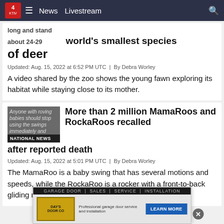KTIV News 4 | News | Livestream
long and stand about 24-29 world's smallest species of deer
Updated: Aug. 15, 2022 at 6:52 PM UTC  |  By Debra Worley
A video shared by the zoo shows the young fawn exploring its habitat while staying close to its mother.
[Figure (photo): Thumbnail image with NATIONAL NEWS label overlay and text about anyone with roving babies should stop using the swings immediately and]
More than 2 million MamaRoos and RockaRoos recalled after reported death
Updated: Aug. 15, 2022 at 5:01 PM UTC  |  By Debra Worley
The MamaRoo is a baby swing that has several motions and speeds, while the RockaRoo is a rocker with a front-to-back gliding motion.
[Figure (photo): Day's Door Co advertisement banner - GARAGE DOOR | SALES | SERVICE | INSTALLATION with Learn More button]